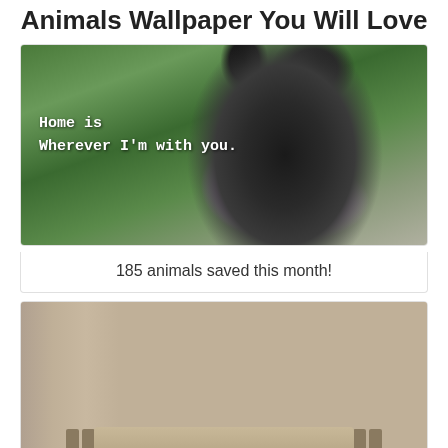Animals Wallpaper You Will Love
[Figure (photo): Black dog wearing a purple bandana sitting outdoors with green foliage in background. Text overlay reads: Home is Wherever I'm with you.]
185 animals saved this month!
[Figure (photo): White/cream colored dog resting on top of a beige plastic kennel carrier inside what appears to be an animal shelter with cinder block walls.]